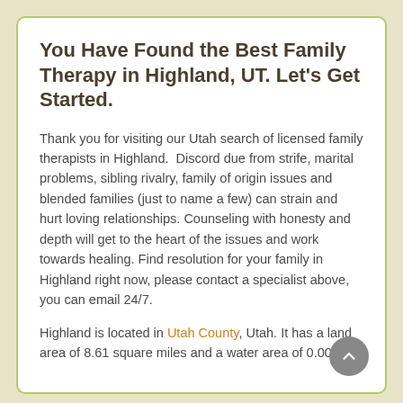You Have Found the Best Family Therapy in Highland, UT. Let's Get Started.
Thank you for visiting our Utah search of licensed family therapists in Highland.  Discord due from strife, marital problems, sibling rivalry, family of origin issues and blended families (just to name a few) can strain and hurt loving relationships. Counseling with honesty and depth will get to the heart of the issues and work towards healing. Find resolution for your family in Highland right now, please contact a specialist above, you can email 24/7.
Highland is located in Utah County, Utah. It has a land area of 8.61 square miles and a water area of 0.00...